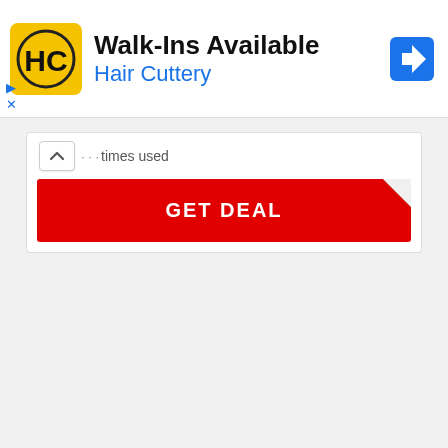[Figure (logo): Hair Cuttery advertisement banner with yellow HC logo, 'Walk-Ins Available' heading, 'Hair Cuttery' subtitle in blue, and blue navigation arrow icon on the right]
times used
GET DEAL